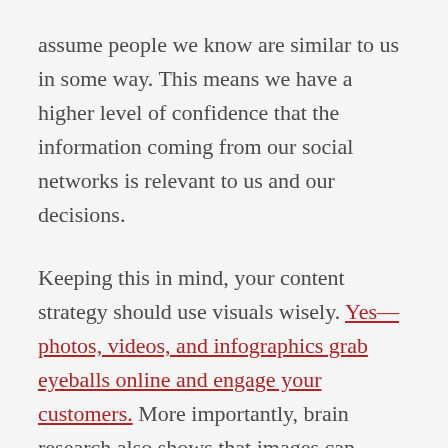assume people we know are similar to us in some way. This means we have a higher level of confidence that the information coming from our social networks is relevant to us and our decisions.
Keeping this in mind, your content strategy should use visuals wisely. Yes—photos, videos, and infographics grab eyeballs online and engage your customers. More importantly, brain research also shows that images can improve the quality and speed of learning, information retention and better convey meaning—as long as those images